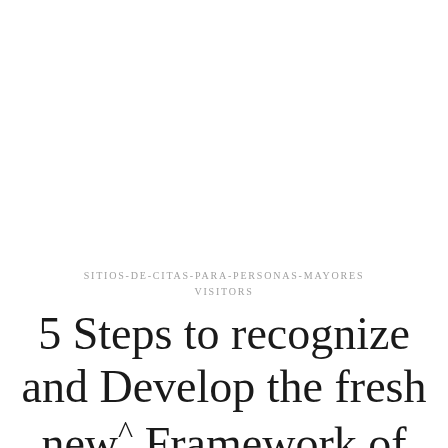SITIOS-DE-CITAS-PARA-PERSONAS-MAYORES VISITORS
5 Steps to recognize and Develop the fresh new^ Framework of the Competitiveness ISQ